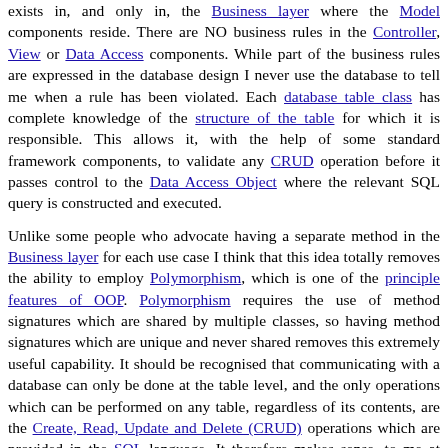exists in, and only in, the Business layer where the Model components reside. There are NO business rules in the Controller, View or Data Access components. While part of the business rules are expressed in the database design I never use the database to tell me when a rule has been violated. Each database table class has complete knowledge of the structure of the table for which it is responsible. This allows it, with the help of some standard framework components, to validate any CRUD operation before it passes control to the Data Access Object where the relevant SQL query is constructed and executed.
Unlike some people who advocate having a separate method in the Business layer for each use case I think that this idea totally removes the ability to employ Polymorphism, which is one of the principle features of OOP. Polymorphism requires the use of method signatures which are shared by multiple classes, so having method signatures which are unique and never shared removes this extremely useful capability. It should be recognised that communicating with a database can only be done at the table level, and the only operations which can be performed on any table, regardless of its contents, are the Create, Read, Update and Delete (CRUD) operations which are provided in the SQL language. It therefore makes sense, to me at least, to create a separate class which is responsible for the business rules